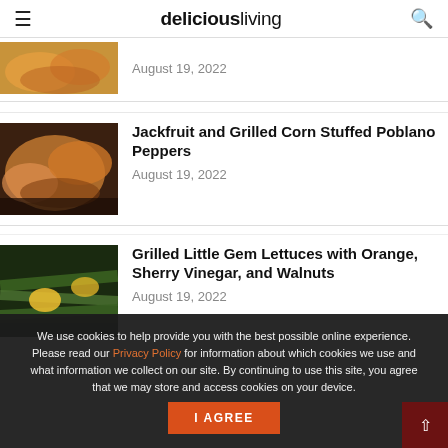deliciousliving
August 19, 2022
[Figure (photo): Food photo thumbnail (partial, top of page)]
[Figure (photo): Jackfruit and Grilled Corn Stuffed Poblano Peppers food photo]
Jackfruit and Grilled Corn Stuffed Poblano Peppers
August 19, 2022
[Figure (photo): Grilled Little Gem Lettuces with Orange, Sherry Vinegar, and Walnuts food photo]
Grilled Little Gem Lettuces with Orange, Sherry Vinegar, and Walnuts
August 19, 2022
We use cookies to help provide you with the best possible online experience. Please read our Privacy Policy for information about which cookies we use and what information we collect on our site. By continuing to use this site, you agree that we may store and access cookies on your device.
I AGREE